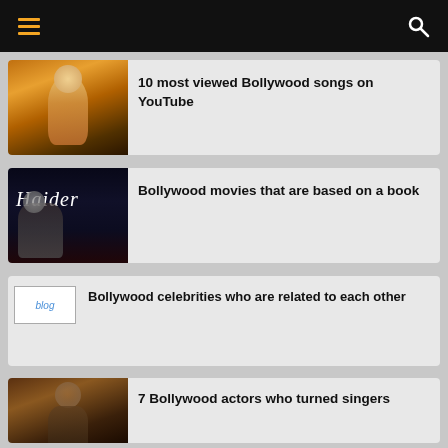Navigation header with menu and search icons
[Figure (photo): Bollywood actress in golden outfit with glowing background]
10 most viewed Bollywood songs on YouTube
[Figure (photo): Haider movie poster with dark background and actor]
Bollywood movies that are based on a book
[Figure (other): Blog placeholder image]
Bollywood celebrities who are related to each other
[Figure (photo): Bollywood actor photo]
7 Bollywood actors who turned singers